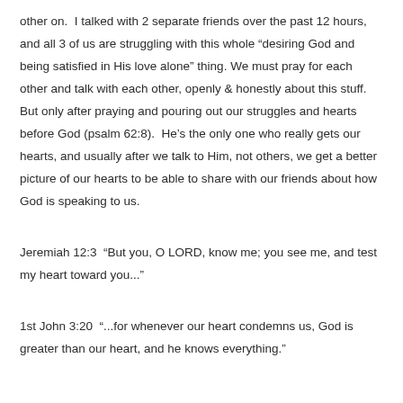other on.  I talked with 2 separate friends over the past 12 hours, and all 3 of us are struggling with this whole “desiring God and being satisfied in His love alone” thing.  We must pray for each other and talk with each other, openly & honestly about this stuff.   But only after praying and pouring out our struggles and hearts before God (psalm 62:8).  He’s the only one who really gets our hearts, and usually after we talk to Him, not others, we get a better picture of our hearts to be able to share with our friends about how God is speaking to us.
Jeremiah 12:3  “But you, O LORD, know me; you see me, and test my heart toward you...”
1st John 3:20  “...for whenever our heart condemns us, God is greater than our heart, and he knows everything.”